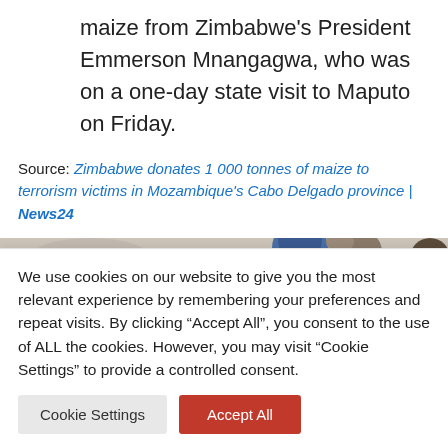maize from Zimbabwe's President Emmerson Mnangagwa, who was on a one-day state visit to Maputo on Friday.
Source: Zimbabwe donates 1 000 tonnes of maize to terrorism victims in Mozambique's Cabo Delgado province | News24
[Figure (photo): Partial photo strip showing women, one wearing a blue headscarf, cropped at bottom of article section]
We use cookies on our website to give you the most relevant experience by remembering your preferences and repeat visits. By clicking "Accept All", you consent to the use of ALL the cookies. However, you may visit "Cookie Settings" to provide a controlled consent.